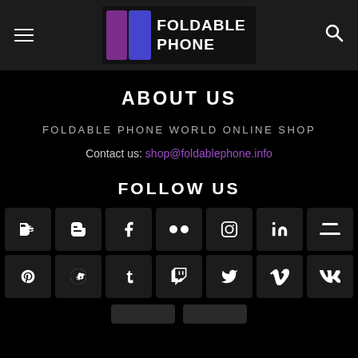FOLDABLE PHONE
ABOUT US
FOLDABLE PHONE WORLD ONLINE SHOP
Contact us: shop@foldablephone.info
FOLLOW US
[Figure (infographic): Social media icons grid: Behance, Blogger, Facebook, Flickr, Instagram, LinkedIn, Twitch (row 1); Pinterest, Reddit, Tumblr, Twitch, Twitter, Vimeo, VK (row 2)]